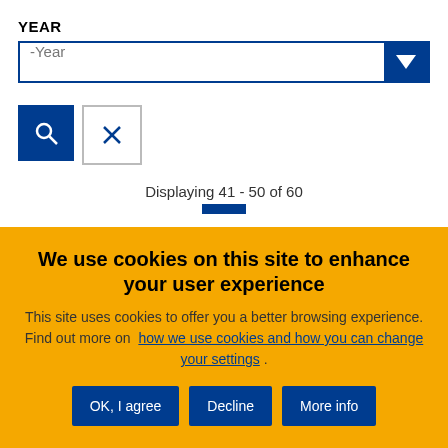YEAR
-Year (dropdown)
[Figure (screenshot): Search button (magnifying glass icon, blue) and Clear button (X icon, white with border)]
Displaying 41 - 50 of 60
We use cookies on this site to enhance your user experience
This site uses cookies to offer you a better browsing experience. Find out more on how we use cookies and how you can change your settings .
OK, I agree | Decline | More info